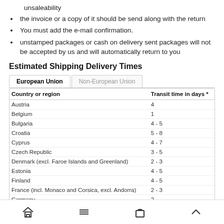unsaleability
the invoice or a copy of it should be send along with the return
You must add the e-mail confirmation.
unstamped packages or cash on delivery sent packages will not be accepted by us and will automatically return to you
Estimated Shipping Delivery Times
| Country or region | Transit time in days * |
| --- | --- |
| Austria | 4 |
| Belgium | 1 |
| Bulgaria | 4 - 5 |
| Croatia | 5 - 8 |
| Cyprus | 4 - 7 |
| Czech Republic | 3 - 5 |
| Denmark (excl. Faroe Islands and Greenland) | 2 - 3 |
| Estonia | 4 - 5 |
| Finland | 4 - 5 |
| France (incl. Monaco and Corsica, excl. Andorra) | 2 - 3 |
| Germany | 2 |
| Greece | 4 - 7 |
| Hungary | 3 - 5 |
| Ireland | 3 - 4 |